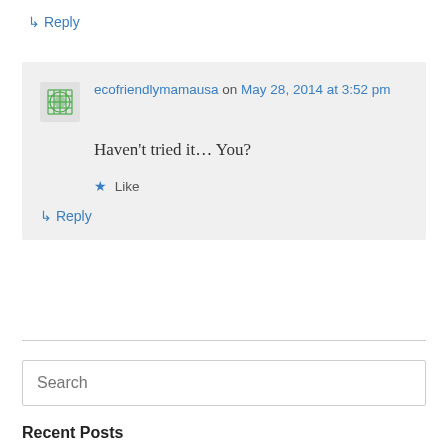↳ Reply
ecofriendlymamausa on May 28, 2014 at 3:52 pm
Haven't tried it… You?
★ Like
↳ Reply
Search
Recent Posts